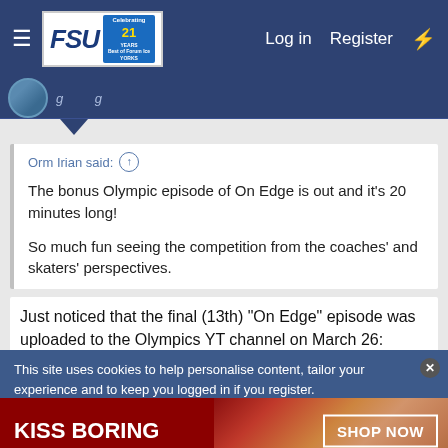FSU Forum — Log in  Register
Orm Irian said: ↑

The bonus Olympic episode of On Edge is out and it's 20 minutes long!

So much fun seeing the competition from the coaches' and skaters' perspectives.
Just noticed that the final (13th) "On Edge" episode was uploaded to the Olympics YT channel on March 26:
https://www.youtube.com/watch?v=C_YGWcjqKtY
This site uses cookies to help personalise content, tailor your experience and to keep you logged in if you register.
[Figure (infographic): Macy's advertisement banner: 'KISS BORING LIPS GOODBYE' on dark red background with a woman's face showing red lips, and a 'SHOP NOW' button with Macy's star logo]